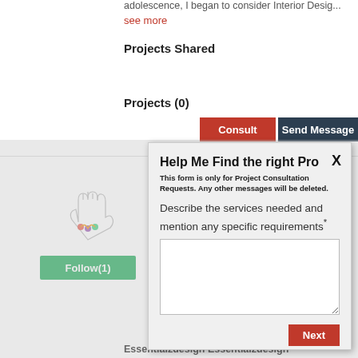adolescence, I began to consider Interior Desig...
see more
Projects Shared
Projects (0)
[Figure (logo): Logo with stylized hands and colorful swirl design]
Follow(1)
M
H
A... de... in...
P
P
Essentialzdesign Essentialzdesign
Help Me Find the right Pro
This form is only for Project Consultation Requests. Any other messages will be deleted.
Describe the services needed and mention any specific requirements*
Next